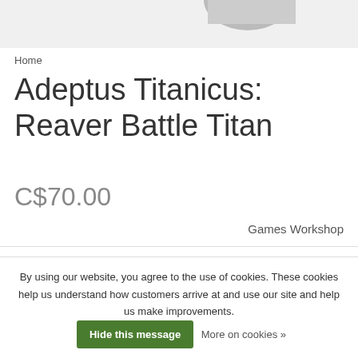[Figure (photo): Partial product image of a miniature figure at top of page]
Home
Adeptus Titanicus: Reaver Battle Titan
C$70.00
Games Workshop
Out of stock
Article code 5011921111589
By using our website, you agree to the use of cookies. These cookies help us understand how customers arrive at and use our site and help us make improvements.
Hide this message
More on cookies »